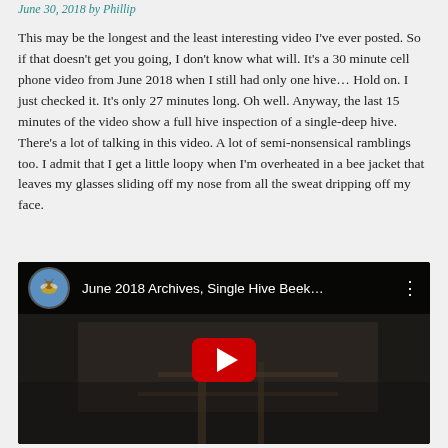June 30, 2018 by Phillip
This may be the longest and the least interesting video I've ever posted. So if that doesn't get you going, I don't know what will. It's a 30 minute cell phone video from June 2018 when I still had only one hive… Hold on. I just checked it. It's only 27 minutes long. Oh well. Anyway, the last 15 minutes of the video show a full hive inspection of a single-deep hive. There's a lot of talking in this video. A lot of semi-nonsensical ramblings too. I admit that I get a little loopy when I'm overheated in a bee jacket that leaves my glasses sliding off my nose from all the sweat dripping off my face.
[Figure (screenshot): Embedded YouTube video player showing 'June 2018 Archives, Single Hive Beek...' with a bee thumbnail avatar, dark video frame with a red play button in the center.]